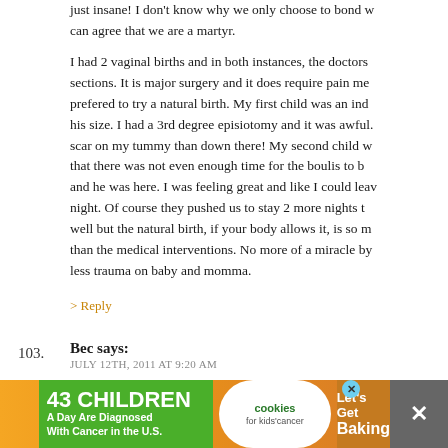just insane! I don't know why we only choose to bond w... can agree that we are a martyr.
I had 2 vaginal births and in both instances, the doctors sections. It is major surgery and it does require pain me... prefered to try a natural birth. My first child was an ind... his size. I had a 3rd degree episiotomy and it was awful... scar on my tummy than down there! My second child w... that there was not even enough time for the boulis to b... and he was here. I was feeling great and like I could leav... night. Of course they pushed us to stay 2 more nights t... well but the natural birth, if your body allows it, is so m... than the medical interventions. No more of a miracle by... less trauma on baby and momma.
> Reply
103. Bec says:
JULY 12TH, 2011 AT 9:20 AM
I had twins via a c-section there years ago. I was rapidly
[Figure (infographic): Advertisement banner: '43 CHILDREN A Day Are Diagnosed With Cancer in the U.S.' with cookies for kids cancer logo and 'Let's Get Baking' call to action on orange background]